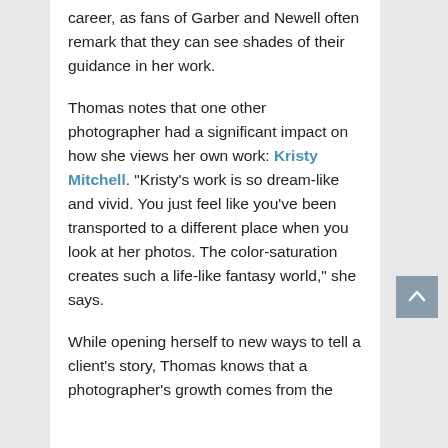career, as fans of Garber and Newell often remark that they can see shades of their guidance in her work.
Thomas notes that one other photographer had a significant impact on how she views her own work: Kristy Mitchell. “Kristy’s work is so dream-like and vivid. You just feel like you’ve been transported to a different place when you look at her photos. The color-saturation creates such a life-like fantasy world,” she says.
While opening herself to new ways to tell a client’s story, Thomas knows that a photographer’s growth comes from the